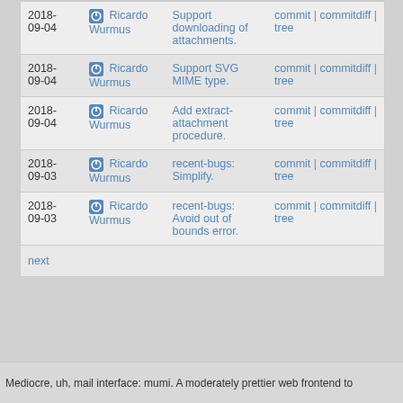| Date | Author | Message | Links |
| --- | --- | --- | --- |
| 2018-09-04 | Ricardo Wurmus | Support downloading of attachments. | commit | commitdiff | tree |
| 2018-09-04 | Ricardo Wurmus | Support SVG MIME type. | commit | commitdiff | tree |
| 2018-09-04 | Ricardo Wurmus | Add extract-attachment procedure. | commit | commitdiff | tree |
| 2018-09-03 | Ricardo Wurmus | recent-bugs: Simplify. | commit | commitdiff | tree |
| 2018-09-03 | Ricardo Wurmus | recent-bugs: Avoid out of bounds error. | commit | commitdiff | tree |
next
Mediocre, uh, mail interface: mumi. A moderately prettier web frontend to